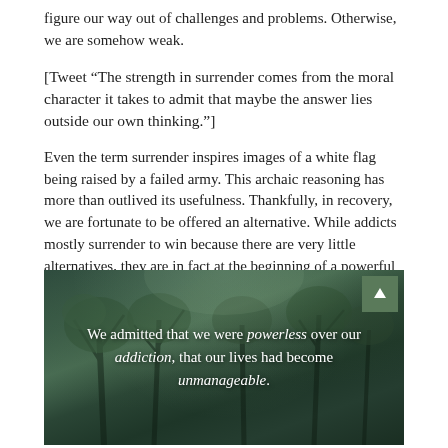figure our way out of challenges and problems. Otherwise, we are somehow weak.
[Tweet “The strength in surrender comes from the moral character it takes to admit that maybe the answer lies outside our own thinking.”]
Even the term surrender inspires images of a white flag being raised by a failed army. This archaic reasoning has more than outlived its usefulness. Thankfully, in recovery, we are fortunate to be offered an alternative. While addicts mostly surrender to win because there are very little alternatives, they are in fact at the beginning of a powerful transformation.
[Figure (photo): Forest/woodland background image with white overlay text reading: 'We admitted that we were powerless over our addiction, that our lives had become unmanageable.' with a green arrow button in top-right corner.]